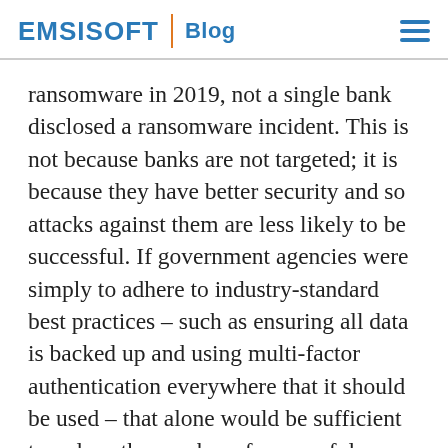EMSISOFT | Blog
ransomware in 2019, not a single bank disclosed a ransomware incident. This is not because banks are not targeted; it is because they have better security and so attacks against them are less likely to be successful. If government agencies were simply to adhere to industry-standard best practices – such as ensuring all data is backed up and using multi-factor authentication everywhere that it should be used – that alone would be sufficient to reduce the number of successful attacks, their severity and